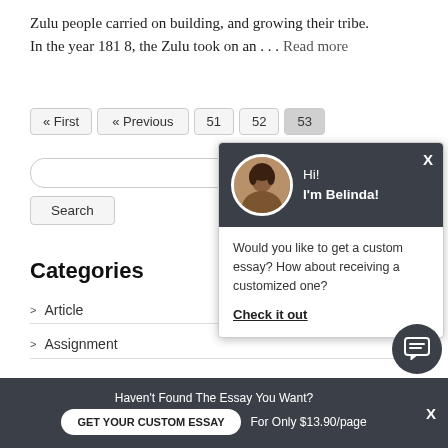Zulu people carried on building, and growing their tribe. In the year 181 8, the Zulu took on an . . . Read more
« First
« Previous
51
52
53
Categories
> Article
> Assignment
[Figure (screenshot): Chat popup with avatar of Belinda. Header says 'Hi! I'm Belinda!' Body says 'Would you like to get a custom essay? How about receiving a customized one?' with 'Check it out' link. Close button X in top right.]
[Figure (infographic): Dark circular chat icon button with speech bubble icon]
Haven't Found The Essay You Want?
GET YOUR CUSTOM ESSAY
For Only $13.90/page